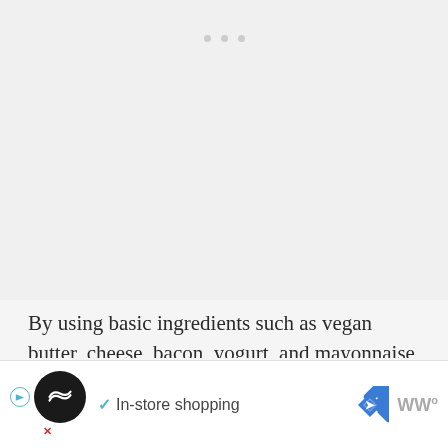[Figure (other): Gray placeholder area with three small dots at the top center, representing an image or media placeholder]
By using basic ingredients such as vegan butter, cheese, bacon, yogurt, and mayonnaise you can create a wide variety of simple dishes: sausage, roasted tomatoes, pasta sauces, dressings & mustards, cookies, granola, crackers, pancakes, ice cream and many more while saying goodbye to those mass-produced synthetic shop-bought vegan a...
[Figure (other): Advertisement banner at the bottom showing a black circular icon with a diamond/loop logo, a checkmark with 'In-store shopping' text, a blue navigation diamond icon, and WW logo]